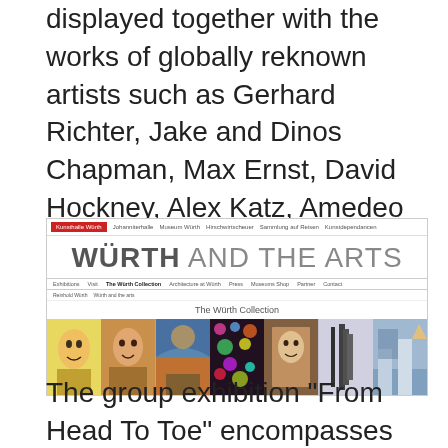displayed together with the works of globally reknown artists such as Gerhard Richter, Jake and Dinos Chapman, Max Ernst, David Hockney, Alex Katz, Amedeo Modigliani , also Picasso, Warhol and Mondrian
[Figure (screenshot): Screenshot of the Würth and the Arts website showing navigation bar, site title 'WÜRTH AND THE ARTS', secondary navigation with 'The Würth Collection' selected, breadcrumb trail, collection title 'The Würth Collection', and a horizontal strip of artwork images.]
The group exhibition "From Head To Toe" encompasses 200 works from 100 artists of the